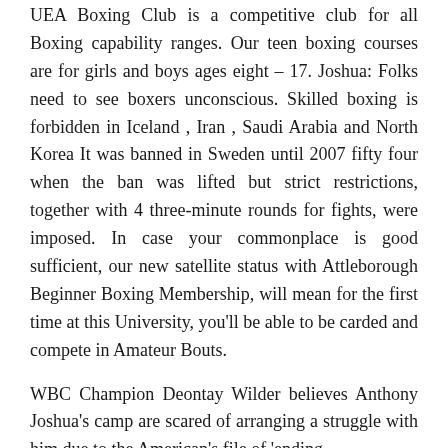UEA Boxing Club is a competitive club for all Boxing capability ranges. Our teen boxing courses are for girls and boys ages eight – 17. Joshua: Folks need to see boxers unconscious. Skilled boxing is forbidden in Iceland , Iran , Saudi Arabia and North Korea It was banned in Sweden until 2007 fifty four when the ban was lifted but strict restrictions, together with 4 three-minute rounds for fights, were imposed. In case your commonplace is good sufficient, our new satellite status with Attleborough Beginner Boxing Membership, will mean for the first time at this University, you'll be able to be carded and compete in Amateur Bouts.
WBC Champion Deontay Wilder believes Anthony Joshua's camp are scared of arranging a struggle with him due to the American's file of 'ending